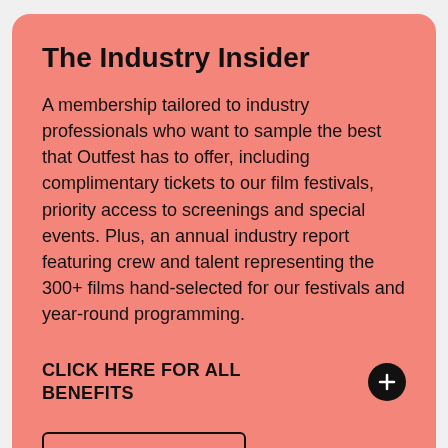The Industry Insider
A membership tailored to industry professionals who want to sample the best that Outfest has to offer, including complimentary tickets to our film festivals, priority access to screenings and special events. Plus, an annual industry report featuring crew and talent representing the 300+ films hand-selected for our festivals and year-round programming.
CLICK HERE FOR ALL BENEFITS
$500/year